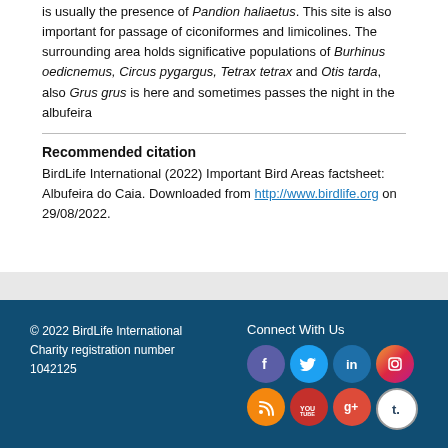is usually the presence of Pandion haliaetus. This site is also important for passage of ciconiformes and limicolines. The surrounding area holds significative populations of Burhinus oedicnemus, Circus pygargus, Tetrax tetrax and Otis tarda, also Grus grus is here and sometimes passes the night in the albufeira
Recommended citation
BirdLife International (2022) Important Bird Areas factsheet: Albufeira do Caia. Downloaded from http://www.birdlife.org on 29/08/2022.
© 2022 BirdLife International Charity registration number 1042125 | Connect With Us